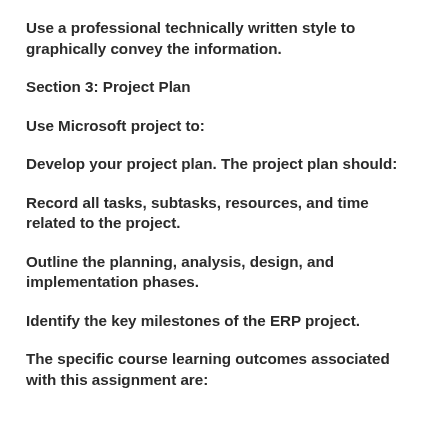Use a professional technically written style to graphically convey the information.
Section 3: Project Plan
Use Microsoft project to:
Develop your project plan. The project plan should:
Record all tasks, subtasks, resources, and time related to the project.
Outline the planning, analysis, design, and implementation phases.
Identify the key milestones of the ERP project.
The specific course learning outcomes associated with this assignment are: